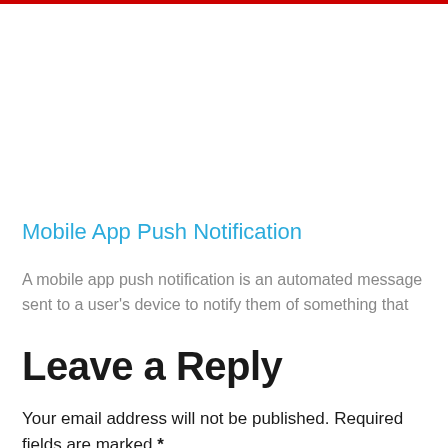[Figure (photo): Partial image visible at very top of page behind red bar]
Mobile App Push Notification
A mobile app push notification is an automated message sent to a user's device to notify them of something that
Leave a Reply
Your email address will not be published. Required fields are marked *